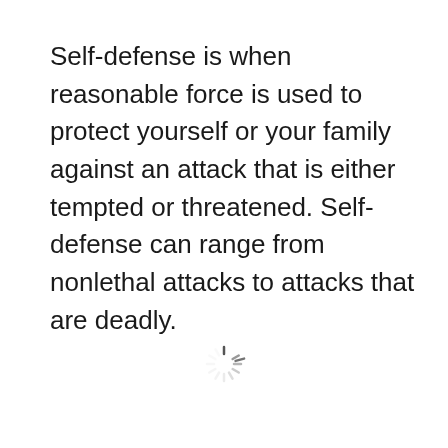Self-defense is when reasonable force is used to protect yourself or your family against an attack that is either tempted or threatened. Self-defense can range from nonlethal attacks to attacks that are deadly.
[Figure (other): Loading spinner icon — a circular spinner graphic with radiating dashes indicating a loading state]